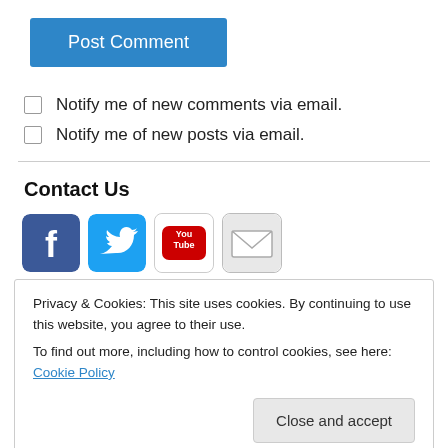[Figure (screenshot): Blue 'Post Comment' button]
Notify me of new comments via email.
Notify me of new posts via email.
Contact Us
[Figure (infographic): Social media icons: Facebook, Twitter, YouTube, Email]
Privacy & Cookies: This site uses cookies. By continuing to use this website, you agree to their use.
To find out more, including how to control cookies, see here: Cookie Policy
Close and accept